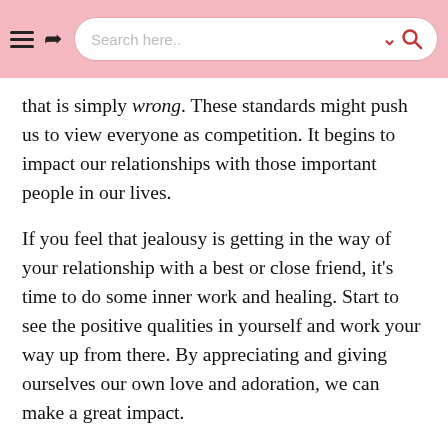Search here..
that is simply wrong. These standards might push us to view everyone as competition. It begins to impact our relationships with those important people in our lives.
If you feel that jealousy is getting in the way of your relationship with a best or close friend, it's time to do some inner work and healing. Start to see the positive qualities in yourself and work your way up from there. By appreciating and giving ourselves our own love and adoration, we can make a great impact.
Why risk a friendship over something so insignificant?
Good friends are hard to come by. Do not let your